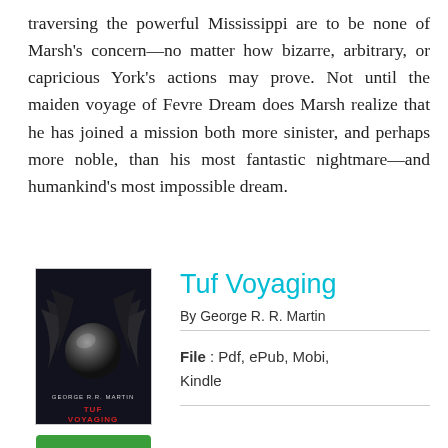traversing the powerful Mississippi are to be none of Marsh's concern—no matter how bizarre, arbitrary, or capricious York's actions may prove. Not until the maiden voyage of Fevre Dream does Marsh realize that he has joined a mission both more sinister, and perhaps more noble, than his most fantastic nightmare—and humankind's most impossible dream.
Tuf Voyaging
By George R. R. Martin
File : Pdf, ePub, Mobi, Kindle
[Figure (illustration): Book cover of Tuf Voyaging showing dark background with a spherical object and decorative elements, with text TUF VOYAGING at the bottom]
[Figure (other): Green READ PDF button]